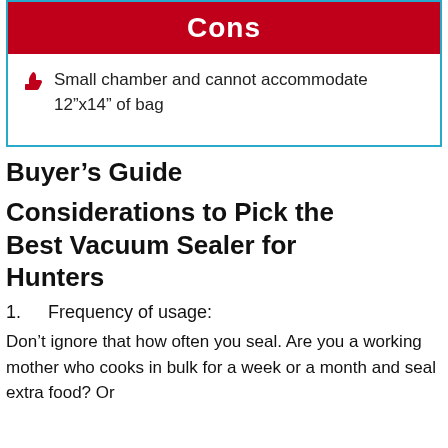Cons
Small chamber and cannot accommodate 12”x14” of bag
Buyer’s Guide
Considerations to Pick the Best Vacuum Sealer for Hunters
1.    Frequency of usage:
Don’t ignore that how often you seal. Are you a working mother who cooks in bulk for a week or a month and seal extra food? Or